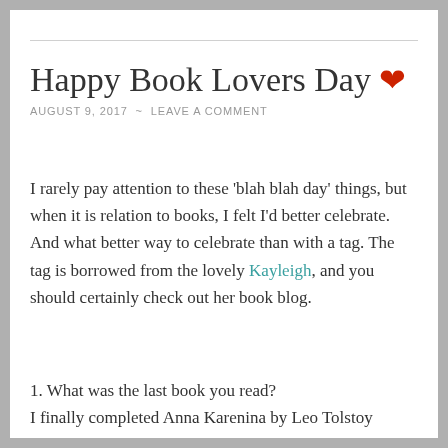Happy Book Lovers Day ❤
AUGUST 9, 2017  ~  LEAVE A COMMENT
I rarely pay attention to these 'blah blah day' things, but when it is relation to books, I felt I'd better celebrate. And what better way to celebrate than with a tag. The tag is borrowed from the lovely Kayleigh, and you should certainly check out her book blog.
1. What was the last book you read?
I finally completed Anna Karenina by Leo Tolstoy